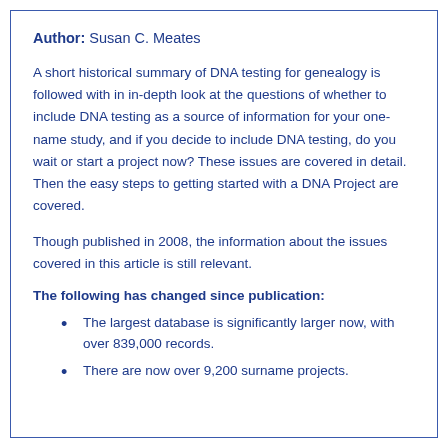Author: Susan C. Meates
A short historical summary of DNA testing for genealogy is followed with in in-depth look at the questions of whether to include DNA testing as a source of information for your one-name study, and if you decide to include DNA testing, do you wait or start a project now? These issues are covered in detail. Then the easy steps to getting started with a DNA Project are covered.
Though published in 2008, the information about the issues covered in this article is still relevant.
The following has changed since publication:
The largest database is significantly larger now, with over 839,000 records.
There are now over 9,200 surname projects.